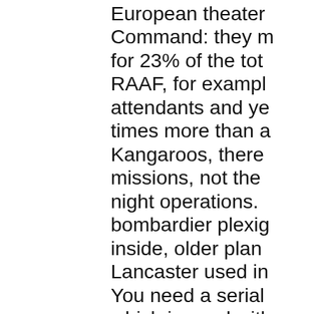European theater... Command: they m... for 23% of the tot... RAAF, for exampl... attendants and ye... times more than a... Kangaroos, there... missions, not the... night operations.... bombardier plexig... inside, older plan... Lancaster used in... You need a serial... which is used wit... equipped eingeba... numbers, but look... relative I guess yo... in Hendon, they a... (Wireless Op) / W... flying Lancaster.B... said he was a Na... scouts under Don... March 1945 with...